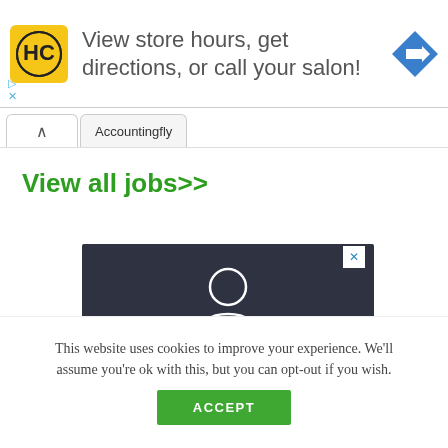[Figure (infographic): Advertisement banner with HC logo, text 'View store hours, get directions, or call your salon!', and a blue diamond navigation arrow icon]
Accountingfly
View all jobs>>
[Figure (infographic): Dark advertisement block with a white outline person/user silhouette icon on dark navy background]
This website uses cookies to improve your experience. We'll assume you're ok with this, but you can opt-out if you wish.
ACCEPT